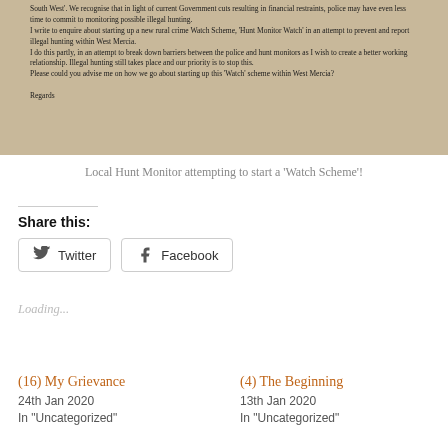[Figure (photo): Photograph of a handwritten or typed letter discussing starting a 'Hunt Monitor Watch' rural crime scheme in West Mercia, mentioning police, illegal hunting, and requesting advice on starting the Watch scheme.]
Local Hunt Monitor attempting to start a 'Watch Scheme'!
Share this:
Loading...
(16) My Grievance
24th Jan 2020
In "Uncategorized"
(4) The Beginning
13th Jan 2020
In "Uncategorized"